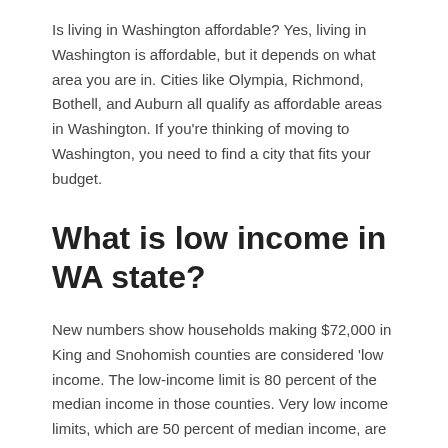Is living in Washington affordable? Yes, living in Washington is affordable, but it depends on what area you are in. Cities like Olympia, Richmond, Bothell, and Auburn all qualify as affordable areas in Washington. If you're thinking of moving to Washington, you need to find a city that fits your budget.
What is low income in WA state?
New numbers show households making $72,000 in King and Snohomish counties are considered 'low income. The low-income limit is 80 percent of the median income in those counties. Very low income limits, which are 50 percent of median income, are $48,000. Extremely low-income is $28,800.
Is it cheaper to live in Washington or Idaho?
Idaho has an overall lower cost of living, with the exception of